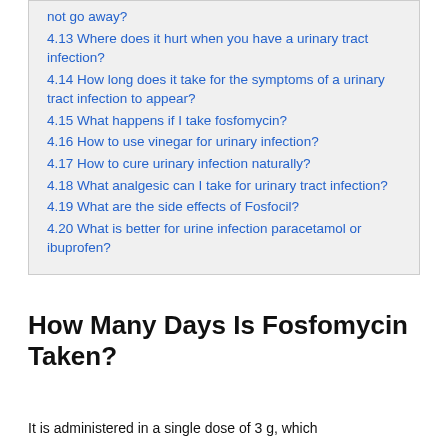4.13 Where does it hurt when you have a urinary tract infection?
4.14 How long does it take for the symptoms of a urinary tract infection to appear?
4.15 What happens if I take fosfomycin?
4.16 How to use vinegar for urinary infection?
4.17 How to cure urinary infection naturally?
4.18 What analgesic can I take for urinary tract infection?
4.19 What are the side effects of Fosfocil?
4.20 What is better for urine infection paracetamol or ibuprofen?
How Many Days Is Fosfomycin Taken?
It is administered in a single dose of 3 g, which